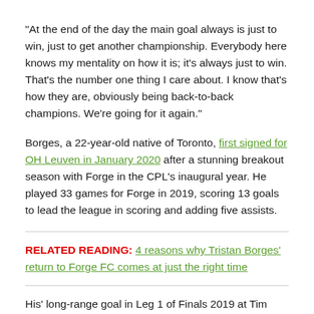“At the end of the day the main goal always is just to win, just to get another championship. Everybody here knows my mentality on how it is; it’s always just to win. That’s the number one thing I care about. I know that’s how they are, obviously being back-to-back champions. We’re going for it again.”
Borges, a 22-year-old native of Toronto, first signed for OH Leuven in January 2020 after a stunning breakout season with Forge in the CPL’s inaugural year. He played 33 games for Forge in 2019, scoring 13 goals to lead the league in scoring and adding five assists.
RELATED READING: 4 reasons why Tristan Borges’ return to Forge FC comes at just the right time
His’ long-range goal in Leg 1 of Finals 2019 at Tim Hortons Field against Cavalry FC was ultimately the championship-winning marker, en route to a 2-0